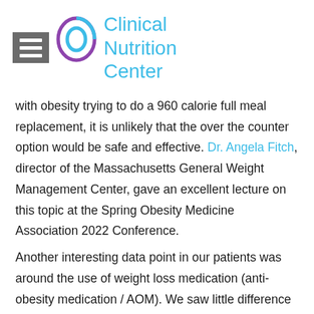[Figure (logo): Clinical Nutrition Center logo with circular icon and menu/hamburger icon]
with obesity trying to do a 960 calorie full meal replacement, it is unlikely that the over the counter option would be safe and effective. Dr. Angela Fitch, director of the Massachusetts General Weight Management Center, gave an excellent lecture on this topic at the Spring Obesity Medicine Association 2022 Conference.
Another interesting data point in our patients was around the use of weight loss medication (anti-obesity medication / AOM). We saw little difference for patients during the first few months of treatment